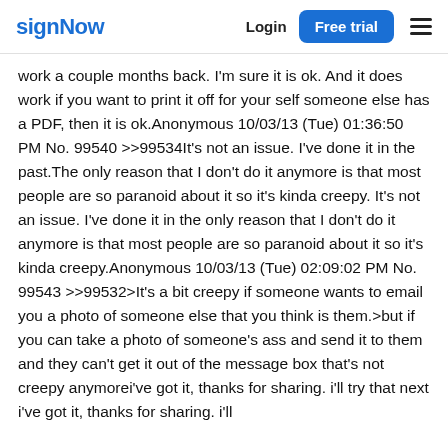signNow | Login | Free trial
work a couple months back. I'm sure it is ok. And it does work if you want to print it off for your self someone else has a PDF, then it is ok.Anonymous 10/03/13 (Tue) 01:36:50 PM No. 99540 >>99534It's not an issue. I've done it in the past.The only reason that I don't do it anymore is that most people are so paranoid about it so it's kinda creepy. It's not an issue. I've done it in the only reason that I don't do it anymore is that most people are so paranoid about it so it's kinda creepy.Anonymous 10/03/13 (Tue) 02:09:02 PM No. 99543 >>99532>It's a bit creepy if someone wants to email you a photo of someone else that you think is them.>but if you can take a photo of someone's ass and send it to them and they can't get it out of the message box that's not creepy anymorei've got it, thanks for sharing. i'll try that next i've got it, thanks for sharing. i'll